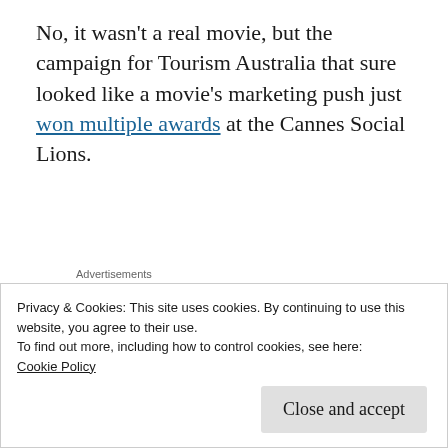No, it wasn't a real movie, but the campaign for Tourism Australia that sure looked like a movie's marketing push just won multiple awards at the Cannes Social Lions.
[Figure (other): Advertisements banner area with orange gradient background and partial loading icon]
Chris Thilk is a freelance writer and content strategist who lives in the Chicago suburbs.
Privacy & Cookies: This site uses cookies. By continuing to use this website, you agree to their use.
To find out more, including how to control cookies, see here: Cookie Policy
Fallen Kingdom, Lady Bird, Solo: A Star Wars Story, Superfly,